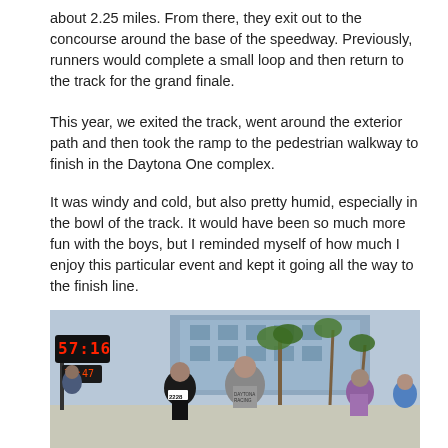about 2.25 miles. From there, they exit out to the concourse around the base of the speedway. Previously, runners would complete a small loop and then return to the track for the grand finale.
This year, we exited the track, went around the exterior path and then took the ramp to the pedestrian walkway to finish in the Daytona One complex.
It was windy and cold, but also pretty humid, especially in the bowl of the track. It would have been so much more fun with the boys, but I reminded myself of how much I enjoy this particular event and kept it going all the way to the finish line.
[Figure (photo): Runners crossing finish area near Daytona One complex. A woman in black tank top with bib number 2228 and another in a grey Daytona Racing shirt running near a race clock showing 57:16, with palm trees and a modern building in the background.]